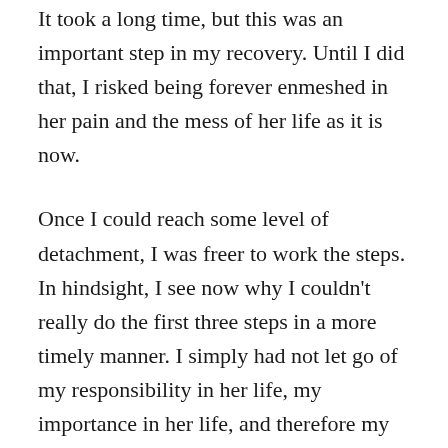It took a long time, but this was an important step in my recovery. Until I did that, I risked being forever enmeshed in her pain and the mess of her life as it is now.
Once I could reach some level of detachment, I was freer to work the steps. In hindsight, I see now why I couldn't really do the first three steps in a more timely manner. I simply had not let go of my responsibility in her life, my importance in her life, and therefore my need to fix her life.
I needed to be humbled—in the best sense of the word.